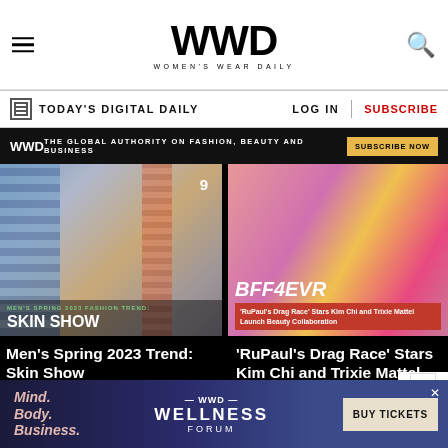WWD — Women's Wear Daily
TODAY'S DIGITAL DAILY | LOG IN | SUBSCRIBE
WWD — THE GLOBAL AUTHORITY ON FASHION, BEAUTY AND BUSINESS — SUBSCRIBE NOW
[Figure (photo): Fashion thumbnail: Men's Spring 2023 Fashion Trend: Skin Show]
Men's Spring 2023 Trend: Skin Show
[Figure (photo): Photo of RuPaul's Drag Race Stars Kim Chi and Trixie Mattel with BFF4EVR overlay]
'RuPaul's Drag Race' Stars Kim Chi and Trixie Mattel Launch Beauty Collaboration
Most Popular
[Figure (infographic): WWD Wellness Forum advertisement: Mind. Body. Business. BUY TICKETS]